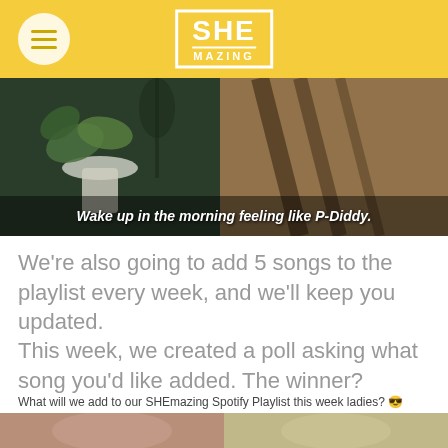SHEmazing
[Figure (photo): Banner image with plants on left, woman with blonde hair on right, overlay text: Wake up in the morning feeling like P-Diddy.]
We're also going to add 5 songs to the playlist every week, and we'll keep you updated.
This week, we created a poll asking what song you'd like added. The winner?
What will we add to our SHEmazing Spotify Playlist this week ladies? 😎
[Figure (photo): Two celebrity photos side by side at the bottom of the page.]